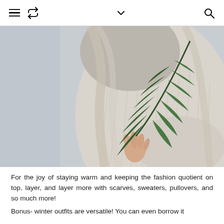≡ ↺ ∨ 🔍
[Figure (photo): A person wearing a light gray chunky knit sweater holding a green palm leaf frond. The background is a soft gray. The image focuses on the torso and the hand holding the leaf.]
For the joy of staying warm and keeping the fashion quotient on top, layer, and layer more with scarves, sweaters, pullovers, and so much more!
Bonus- winter outfits are versatile! You can even borrow it